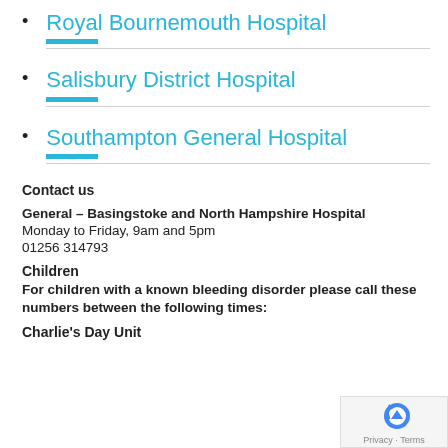Royal Bournemouth Hospital
Salisbury District Hospital
Southampton General Hospital
Contact us
General – Basingstoke and North Hampshire Hospital
Monday to Friday, 9am and 5pm
01256 314793
Children
For children with a known bleeding disorder please call these numbers between the following times:
Charlie's Day Unit